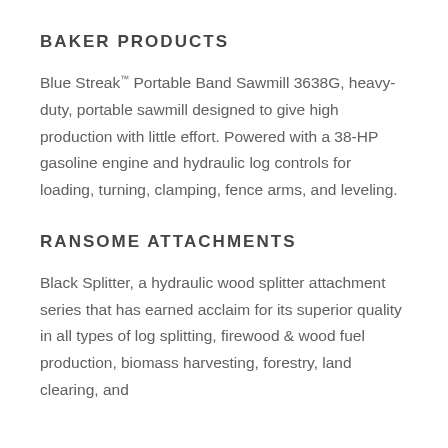BAKER PRODUCTS
Blue Streak™ Portable Band Sawmill 3638G, heavy-duty, portable sawmill designed to give high production with little effort. Powered with a 38-HP gasoline engine and hydraulic log controls for loading, turning, clamping, fence arms, and leveling.
RANSOME ATTACHMENTS
Black Splitter, a hydraulic wood splitter attachment series that has earned acclaim for its superior quality in all types of log splitting, firewood & wood fuel production, biomass harvesting, forestry, land clearing, and